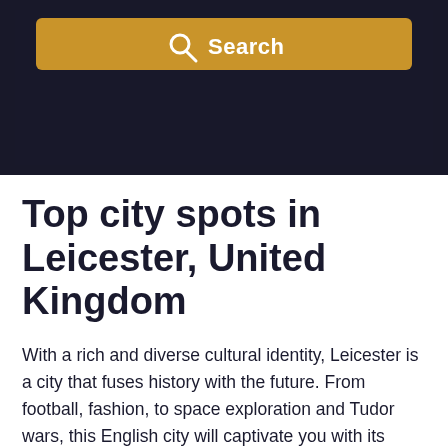[Figure (screenshot): Dark header background with a golden/amber search bar containing a magnifying glass icon and the word 'Search' in white bold text]
Top city spots in Leicester, United Kingdom
With a rich and diverse cultural identity, Leicester is a city that fuses history with the future. From football, fashion, to space exploration and Tudor wars, this English city will captivate you with its bustling, vibrant atmosphere.
Set in the East Midlands, Leicester is only a one